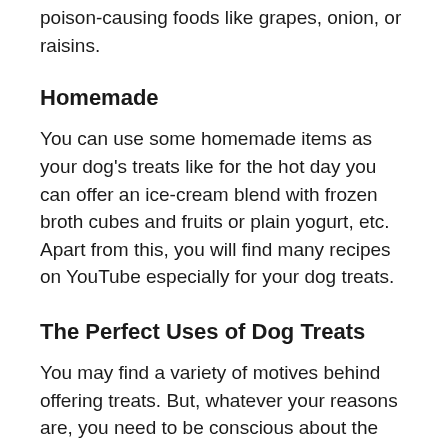poison-causing foods like grapes, onion, or raisins.
Homemade
You can use some homemade items as your dog's treats like for the hot day you can offer an ice-cream blend with frozen broth cubes and fruits or plain yogurt, etc.  Apart from this, you will find many recipes on YouTube especially for your dog treats.
The Perfect Uses of Dog Treats
You may find a variety of motives behind offering treats. But, whatever your reasons are, you need to be conscious about the proper amount of quantity and also calories for your dog's healthy weight.